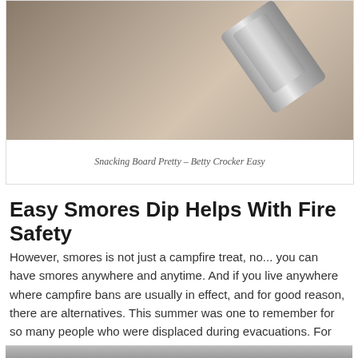[Figure (photo): A close-up photo of what appears to be a chrome or metal utensil/tool on a stone or marble surface, viewed from above.]
Snacking Board Pretty – Betty Crocker Easy
Easy Smores Dip Helps With Fire Safety
However, smores is not just a campfire treat, no... you can have smores anywhere and anytime. And if you live anywhere where campfire bans are usually in effect, and for good reason, there are alternatives. This summer was one to remember for so many people who were displaced during evacuations. For this reason we even had the children's Great Grampa stay with us during the Logan Lake fires.
[Figure (photo): Bottom of page — partial photo visible, cropped at page edge.]